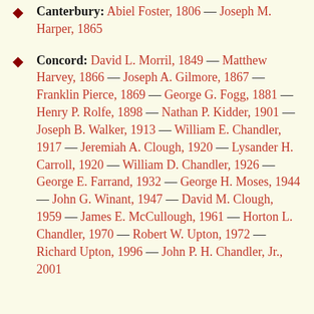Canterbury: Abiel Foster, 1806 — Joseph M. Harper, 1865
Concord: David L. Morril, 1849 — Matthew Harvey, 1866 — Joseph A. Gilmore, 1867 — Franklin Pierce, 1869 — George G. Fogg, 1881 — Henry P. Rolfe, 1898 — Nathan P. Kidder, 1901 — Joseph B. Walker, 1913 — William E. Chandler, 1917 — Jeremiah A. Clough, 1920 — Lysander H. Carroll, 1920 — William D. Chandler, 1926 — George E. Farrand, 1932 — George H. Moses, 1944 — John G. Winant, 1947 — David M. Clough, 1959 — James E. McCullough, 1961 — Horton L. Chandler, 1970 — Robert W. Upton, 1972 — Richard Upton, 1996 — John P. H. Chandler, Jr., 2001